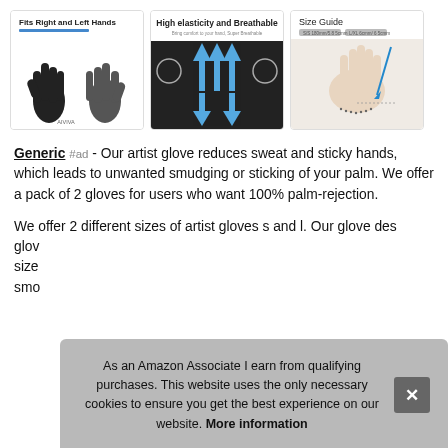[Figure (photo): Three product images of artist gloves: left shows two hands wearing black two-finger gloves, center shows high elasticity and breathable graphic with blue arrows, right shows a size guide with hand measurement diagram]
Generic #ad - Our artist glove reduces sweat and sticky hands, which leads to unwanted smudging or sticking of your palm. We offer a pack of 2 gloves for users who want 100% palm-rejection.
We offer 2 different sizes of artist gloves s and l. Our glove des glov size smo
As an Amazon Associate I earn from qualifying purchases. This website uses the only necessary cookies to ensure you get the best experience on our website. More information